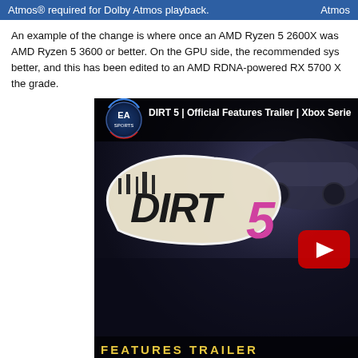Atmos® required for Dolby Atmos playback.   Atmos
An example of the change is where once an AMD Ryzen 5 2600X was AMD Ryzen 5 3600 or better. On the GPU side, the recommended sys better, and this has been edited to an AMD RDNA-powered RX 5700 X the grade.
[Figure (screenshot): DIRT 5 Official Features Trailer YouTube video thumbnail showing the DIRT 5 game logo sticker with a car in the background and YouTube play button overlay. EA Sports logo visible in top bar with title 'DIRT 5 | Official Features Trailer | Xbox Serie'. 'FEATURES TRAILER' text visible at bottom.]